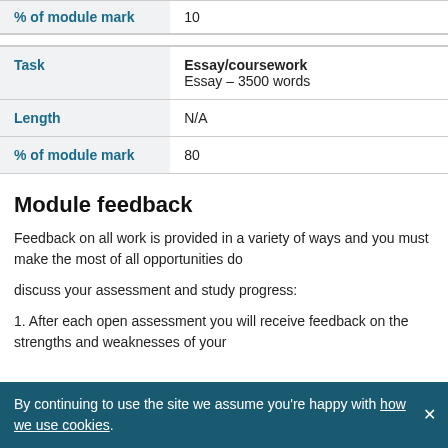| % of module mark | 10 |
| --- | --- |
| Task | Essay/coursework
Essay - 3500 words |
| Length | N/A |
| % of module mark | 80 |
Module feedback
Feedback on all work is provided in a variety of ways and you must make the most of all opportunities do
discuss your assessment and study progress:
1. After each open assessment you will receive feedback on the strengths and weaknesses of your
By continuing to use the site we assume you're happy with how we use cookies.